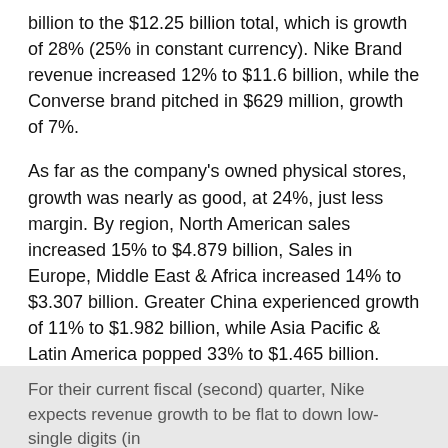billion to the $12.25 billion total, which is growth of 28% (25% in constant currency). Nike Brand revenue increased 12% to $11.6 billion, while the Converse brand pitched in $629 million, growth of 7%.
As far as the company's owned physical stores, growth was nearly as good, at 24%, just less margin. By region, North American sales increased 15% to $4.879 billion, Sales in Europe, Middle East & Africa increased 14% to $3.307 billion. Greater China experienced growth of 11% to $1.982 billion, while Asia Pacific & Latin America popped 33% to $1.465 billion.
The Bad
The problem, more than the first-quarter revenue miss, was in the guidance.
For their current fiscal (second) quarter, Nike expects revenue growth to be flat to down low-single digits (in